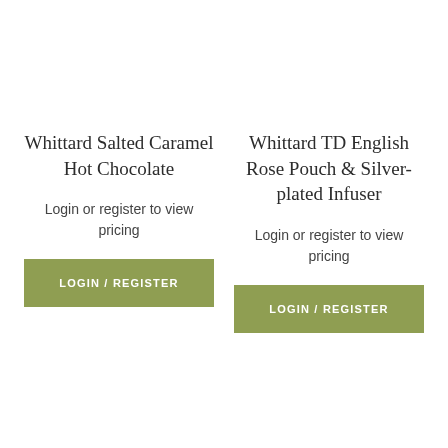Whittard Salted Caramel Hot Chocolate
Login or register to view pricing
LOGIN / REGISTER
Whittard TD English Rose Pouch & Silver-plated Infuser
Login or register to view pricing
LOGIN / REGISTER